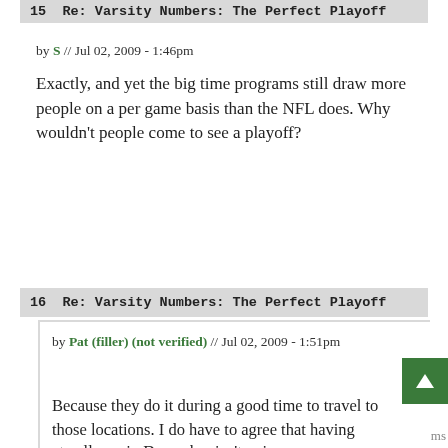15  Re: Varsity Numbers: The Perfect Playoff
by S // Jul 02, 2009 - 1:46pm
Exactly, and yet the big time programs still draw more people on a per game basis than the NFL does. Why wouldn't people come to see a playoff?
16  Re: Varsity Numbers: The Perfect Playoff
by Pat (filler) (not verified) // Jul 02, 2009 - 1:51pm
Because they do it during a good time to travel to those locations. I do have to agree that having games at colleges in December isn't going